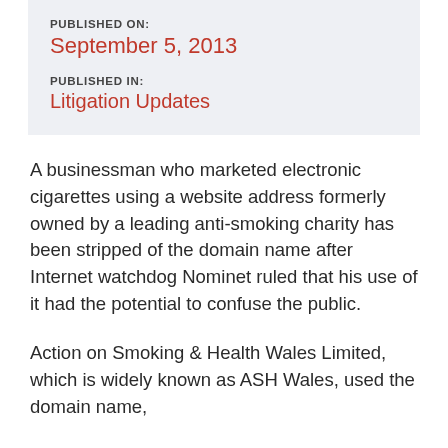PUBLISHED ON:
September 5, 2013
PUBLISHED IN:
Litigation Updates
A businessman who marketed electronic cigarettes using a website address formerly owned by a leading anti-smoking charity has been stripped of the domain name after Internet watchdog Nominet ruled that his use of it had the potential to confuse the public.
Action on Smoking & Health Wales Limited, which is widely known as ASH Wales, used the domain name,